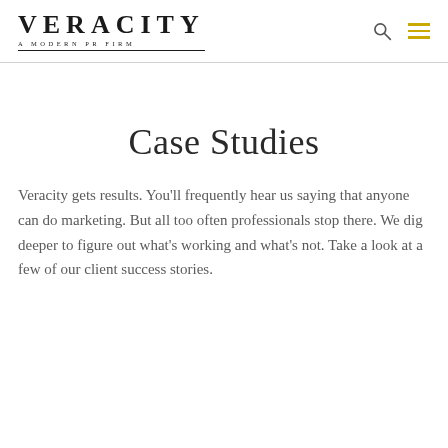VERACITY · A MODERN PR FIRM
Case Studies
Veracity gets results. You'll frequently hear us saying that anyone can do marketing. But all too often professionals stop there. We dig deeper to figure out what's working and what's not. Take a look at a few of our client success stories.